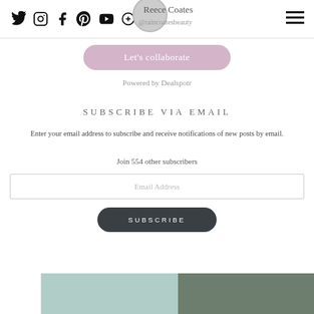Twitter Instagram Facebook Pinterest YouTube Plus | Reece Coates @raincoatesbeauty
Let's collaborate
Powered by Dealspotr
SUBSCRIBE VIA EMAIL
Enter your email address to subscribe and receive notifications of new posts by email.
Join 554 other subscribers
Email Address
SUBSCRIBE